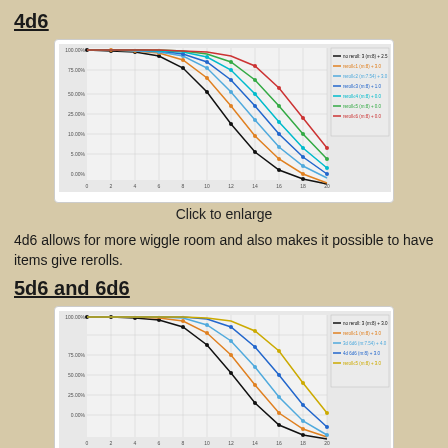4d6
[Figure (continuous-plot): Multiple sigmoid/CDF curves for 4d6 reroll distributions, each in a different color (black, orange, blue shades, green, red), with a legend on the right side. X-axis shows numeric values, Y-axis shows percentage probabilities from 0 to 100%.]
Click to enlarge
4d6 allows for more wiggle room and also makes it possible to have items give rerolls.
5d6 and 6d6
[Figure (continuous-plot): Multiple sigmoid/CDF curves for 5d6 and 6d6 reroll distributions, each in a different color (black, orange, blue shades, yellow), with a legend on the right side. X-axis shows numeric values, Y-axis shows percentage probabilities from 0 to 100%.]
5d6 - click to enlarge